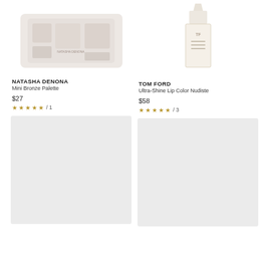[Figure (photo): Natasha Denona Mini Bronze Palette product image - top portion cropped]
[Figure (photo): Tom Ford Ultra-Shine Lip Color Nudiste product image - top portion cropped]
NATASHA DENONA
Mini Bronze Palette
$27
★★★★★ / 1
TOM FORD
Ultra-Shine Lip Color Nudiste
$58
★★★★★ / 3
[Figure (photo): Second product image placeholder - light gray box]
[Figure (photo): Second product image placeholder - light gray box]